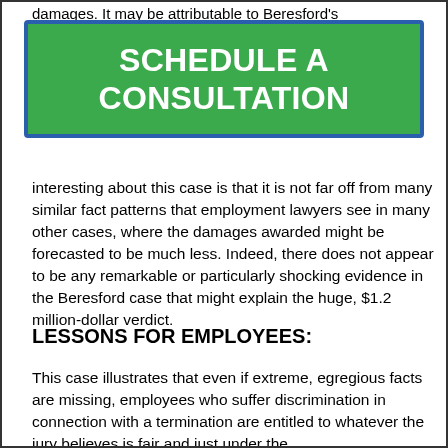damages. It may be attributable to Beresford's
[Figure (other): Green call-to-action button with blue border reading SCHEDULE A CONSULTATION in bold white uppercase text]
interesting about this case is that it is not far off from many similar fact patterns that employment lawyers see in many other cases, where the damages awarded might be forecasted to be much less. Indeed, there does not appear to be any remarkable or particularly shocking evidence in the Beresford case that might explain the huge, $1.2 million-dollar verdict.
LESSONS FOR EMPLOYEES:
This case illustrates that even if extreme, egregious facts are missing, employees who suffer discrimination in connection with a termination are entitled to whatever the jury believes is fair and just under the